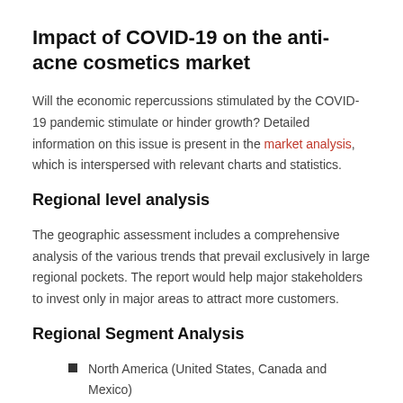Impact of COVID-19 on the anti-acne cosmetics market
Will the economic repercussions stimulated by the COVID-19 pandemic stimulate or hinder growth? Detailed information on this issue is present in the market analysis, which is interspersed with relevant charts and statistics.
Regional level analysis
The geographic assessment includes a comprehensive analysis of the various trends that prevail exclusively in large regional pockets. The report would help major stakeholders to invest only in major areas to attract more customers.
Regional Segment Analysis
North America (United States, Canada and Mexico)
Europe (Germany, UK, France, Italy, Russia and Spain etc.)